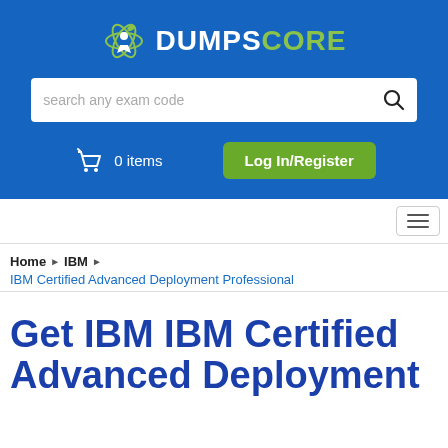[Figure (logo): DumpsCore logo with atom/person icon and text DUMPSCORE where DUMP is white and SCORE is green]
search any exam code
0 items
Log In/Register
Home ▶ IBM ▶
IBM Certified Advanced Deployment Professional
Get IBM IBM Certified Advanced Deployment